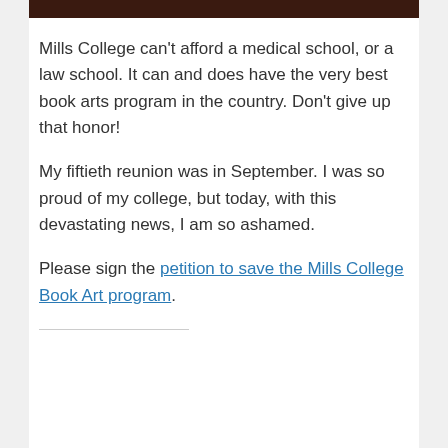[Figure (other): Dark brown horizontal bar at top of page]
Mills College can't afford a medical school, or a law school. It can and does have the very best book arts program in the country. Don't give up that honor!
My fiftieth reunion was in September. I was so proud of my college, but today, with this devastating news, I am so ashamed.
Please sign the petition to save the Mills College Book Art program.